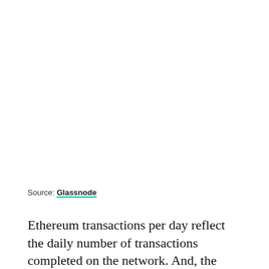Source: Glassnode
Ethereum transactions per day reflect the daily number of transactions completed on the network. And, the same